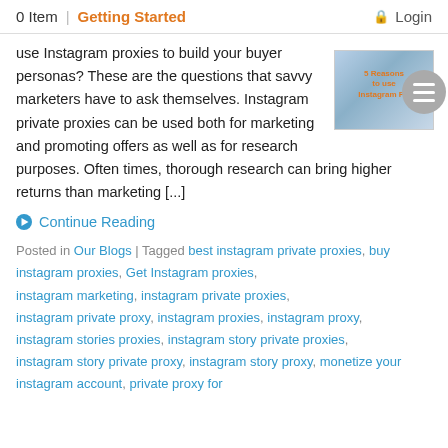0 Item | Getting Started | Login
use Instagram proxies to build your buyer personas? These are the questions that savvy marketers have to ask themselves. Instagram private proxies can be used both for marketing and promoting offers as well as for research purposes. Often times, thorough research can bring higher returns than marketing [...]
[Figure (other): Thumbnail image with text '5 Reasons to use Instagram P...' with a circular menu icon overlay]
Continue Reading
Posted in Our Blogs | Tagged best instagram private proxies, buy instagram proxies, Get Instagram proxies, instagram marketing, instagram private proxies, instagram private proxy, instagram proxies, instagram proxy, instagram stories proxies, instagram story private proxies, instagram story private proxy, instagram story proxy, monetize your instagram account, private proxy for